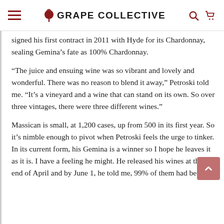GRAPE COLLECTIVE
signed his first contract in 2011 with Hyde for its Chardonnay, sealing Gemina’s fate as 100% Chardonnay.
“The juice and ensuing wine was so vibrant and lovely and wonderful. There was no reason to blend it away,” Petroski told me. “It’s a vineyard and a wine that can stand on its own. So over three vintages, there were three different wines.”
Massican is small, at 1,200 cases, up from 500 in its first year. So it’s nimble enough to pivot when Petroski feels the urge to tinker. In its current form, his Gemina is a winner so I hope he leaves it as it is. I have a feeling he might. He released his wines at the end of April and by June 1, he told me, 99% of them had been